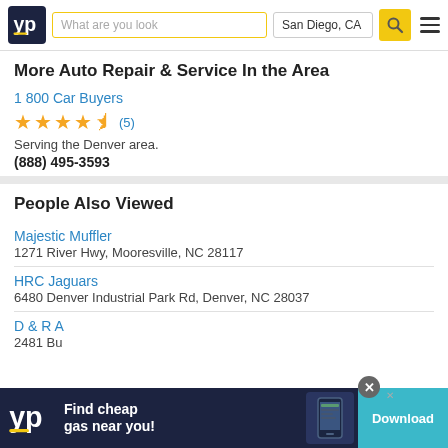YP | What are you look | San Diego, CA
More Auto Repair & Service In the Area
1 800 Car Buyers
★★★★½ (5)
Serving the Denver area.
(888) 495-3593
People Also Viewed
Majestic Muffler
1271 River Hwy, Mooresville, NC 28117
HRC Jaguars
6480 Denver Industrial Park Rd, Denver, NC 28037
D & R A...
2481 Bu...
[Figure (screenshot): YP app advertisement banner: Find cheap gas near you! Download button]